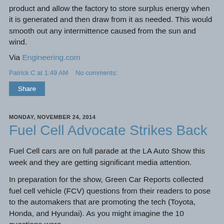product and allow the factory to store surplus energy when it is generated and then draw from it as needed. This would smooth out any intermittence caused from the sun and wind.
Via Engineering.com
Patrick C at 1:49 AM    No comments:
Share
MONDAY, NOVEMBER 24, 2014
Fuel Cell Advocate Strikes Back
Fuel Cell cars are on full parade at the LA Auto Show this week and they are getting significant media attention.
In preparation for the show, Green Car Reports collected fuel cell vehicle (FCV) questions from their readers to pose to the automakers that are promoting the tech (Toyota, Honda, and Hyundai). As you might imagine the 10 questions were